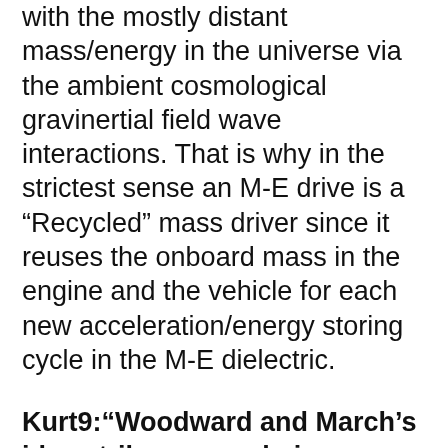with the mostly distant mass/energy in the universe via the ambient cosmological gravinertial field wave interactions. That is why in the strictest sense an M-E drive is a “Recycled” mass driver since it reuses the onboard mass in the engine and the vehicle for each new acceleration/energy storing cycle in the M-E dielectric.
Kurt9:“Woodward and March’s idea strikes me as being similar to or based on Cramer’s retro-causality ideas. Several years ago, Cramer passed around the hat to fund his retro-causality experiment and that he was successful at getting the necessary money. Does